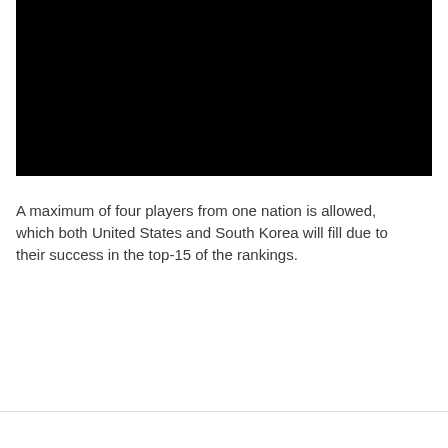[Figure (photo): Black rectangular image area at the top of the page]
A maximum of four players from one nation is allowed, which both United States and South Korea will fill due to their success in the top-15 of the rankings.